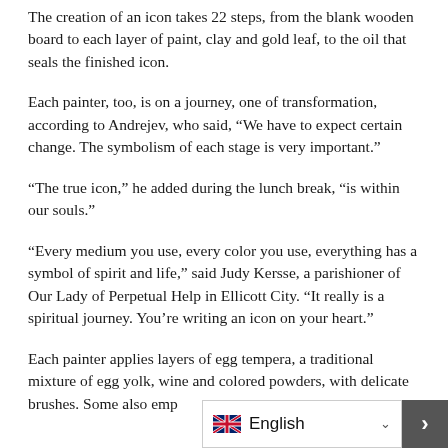The creation of an icon takes 22 steps, from the blank wooden board to each layer of paint, clay and gold leaf, to the oil that seals the finished icon.
Each painter, too, is on a journey, one of transformation, according to Andrejev, who said, “We have to expect certain change. The symbolism of each stage is very important.”
“The true icon,” he added during the lunch break, “is within our souls.”
“Every medium you use, every color you use, everything has a symbol of spirit and life,” said Judy Kersse, a parishioner of Our Lady of Perpetual Help in Ellicott City. “It really is a spiritual journey. You’re writing an icon on your heart.”
Each painter applies layers of egg tempera, a traditional mixture of egg yolk, wine and colored powders, with delicate brushes. Some also emp…